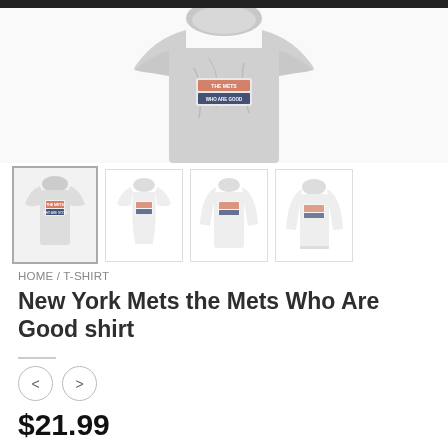[Figure (photo): Hero product photo showing the upper portion of a light gray t-shirt with a New York Mets design (THE METS / WHO ARE GOOD text in orange and navy).]
[Figure (photo): Row of four product thumbnail images: unisex tee (selected/highlighted), women's tee, long sleeve tee, and sweatshirt — all white with small Mets graphic.]
HOME / T-SHIRT
New York Mets the Mets Who Are Good shirt
< >
$21.99
Style*
Unisex Tee